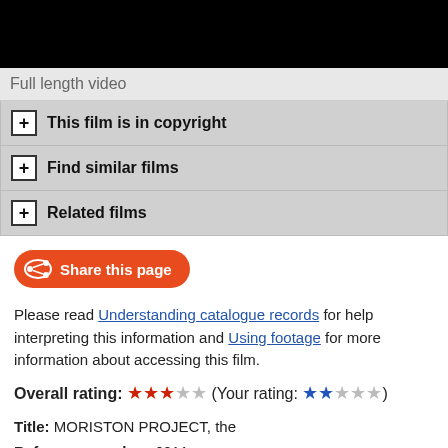[Figure (photo): Black video player area at top of page]
Full length video
+ This film is in copyright
+ Find similar films
+ Related films
[Figure (other): Share this page button with bone icon]
Please read Understanding catalogue records for help interpreting this information and Using footage for more information about accessing this film.
Overall rating: ★★★☆☆ (Your rating: ★★☆☆☆)
Title: MORISTON PROJECT, the
Reference number: 6211
Date: 1952 - 1956
Director: [d. Derrick Knight]
Sponsor: [ Mitchell Construction Company]